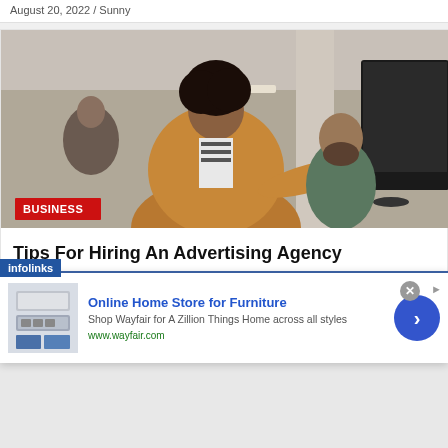August 20, 2022 / Sunny
[Figure (photo): Woman in orange top leaning over and pointing at a computer monitor while a bearded man looks on; another person visible in the background in an office setting. Red 'BUSINESS' badge overlay at bottom left.]
Tips For Hiring An Advertising Agency
[Figure (other): Infolinks ad overlay: Online Home Store for Furniture - Shop Wayfair for A Zillion Things Home across all styles. www.wayfair.com. Shows appliance/furniture image on left and blue arrow button on right. Close (x) button top right.]